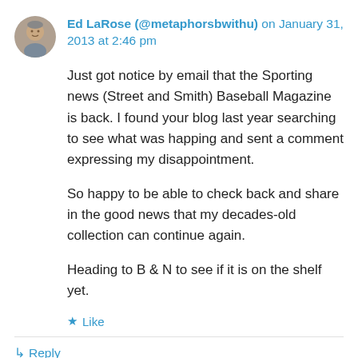[Figure (photo): Round avatar photo of Ed LaRose, an older man]
Ed LaRose (@metaphorsbwithu) on January 31, 2013 at 2:46 pm
Just got notice by email that the Sporting news (Street and Smith) Baseball Magazine is back. I found your blog last year searching to see what was happing and sent a comment expressing my disappointment.
So happy to be able to check back and share in the good news that my decades-old collection can continue again.
Heading to B & N to see if it is on the shelf yet.
★ Like
↳ Reply